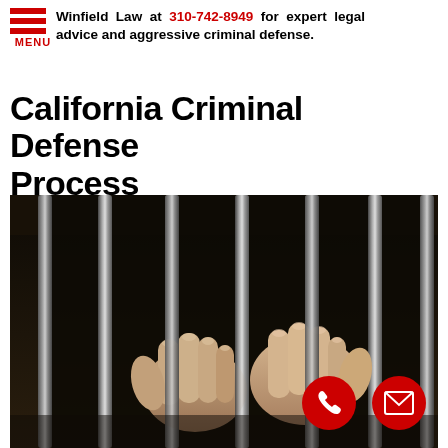Winfield Law at 310-742-8949 for expert legal advice and aggressive criminal defense.
California Criminal Defense Process
[Figure (photo): Two hands gripping metal jail bars from inside a dark cell, close-up photo with dramatic lighting.]
[Figure (other): Red circular phone/call button icon at bottom right of image.]
[Figure (other): Red circular envelope/mail button icon at bottom right of image.]